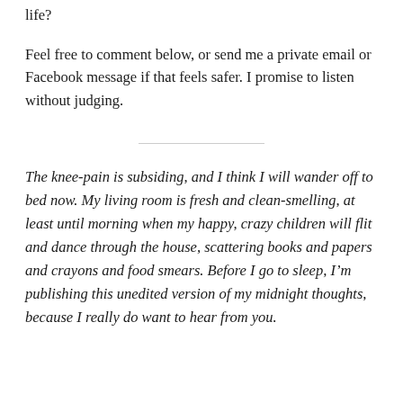life?
Feel free to comment below, or send me a private email or Facebook message if that feels safer. I promise to listen without judging.
The knee-pain is subsiding, and I think I will wander off to bed now. My living room is fresh and clean-smelling, at least until morning when my happy, crazy children will flit and dance through the house, scattering books and papers and crayons and food smears. Before I go to sleep, I’m publishing this unedited version of my midnight thoughts, because I really do want to hear from you.